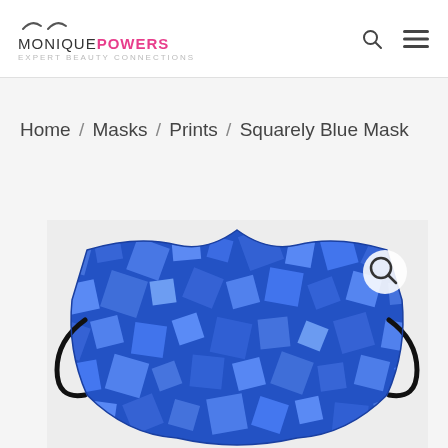MONIQUE POWERS — Expert Beauty Connections
Home / Masks / Prints / Squarely Blue Mask
[Figure (photo): A blue fabric face mask with a square/diamond geometric print pattern in shades of blue, viewed from the front on a light background. A circular search/zoom icon is overlaid in the top right of the image.]